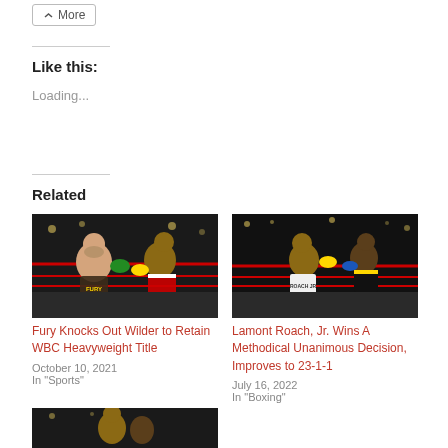More
Like this:
Loading...
Related
[Figure (photo): Boxing match photo: Fury knocks out Wilder, two boxers in the ring]
Fury Knocks Out Wilder to Retain WBC Heavyweight Title
October 10, 2021
In "Sports"
[Figure (photo): Boxing match photo: Lamont Roach Jr. in action, two boxers in the ring]
Lamont Roach, Jr. Wins A Methodical Unanimous Decision, Improves to 23-1-1
July 16, 2022
In "Boxing"
[Figure (photo): Boxing match photo partially visible at the bottom]